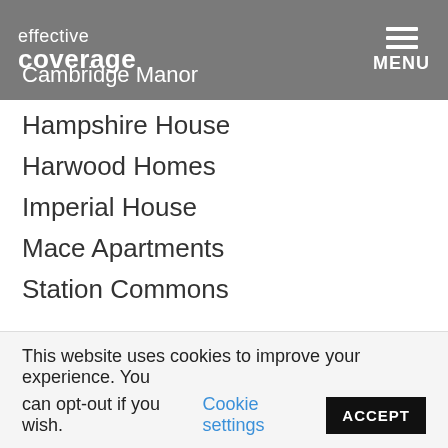effective coverage — MENU
Cambridge Manor
Hampshire House
Harwood Homes
Imperial House
Mace Apartments
Station Commons
Hoboken, NJ
1000 Jefferson
Hudson Square North
Hudson Square South
This website uses cookies to improve your experience. You can opt-out if you wish. Cookie settings ACCEPT